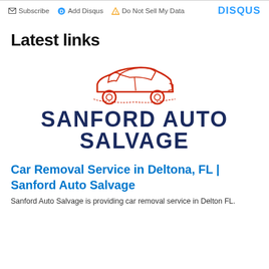Subscribe  Add Disqus  Do Not Sell My Data   DISQUS
Latest links
[Figure (logo): Sanford Auto Salvage logo: red cartoon car above the text SANFORD AUTO SALVAGE in dark navy bold letters]
Car Removal Service in Deltona, FL | Sanford Auto Salvage
Sanford Auto Salvage is providing car removal service in Delton FL.